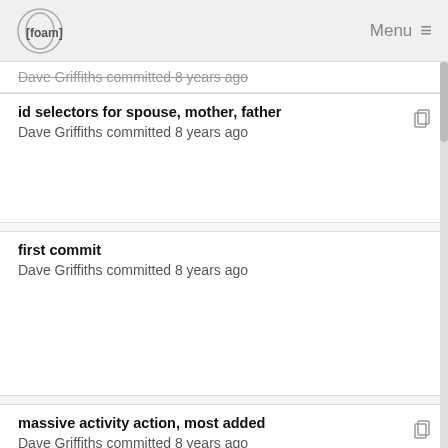[foam] Menu
Dave Griffiths committed 8 years ago
id selectors for spouse, mother, father
Dave Griffiths committed 8 years ago
first commit
Dave Griffiths committed 8 years ago
massive activity action, most added
Dave Griffiths committed 8 years ago
photos integrated partially, db sync activity added
Dave Griffiths committed 8 years ago
massive activity action, most added
Dave Griffiths committed 8 years ago